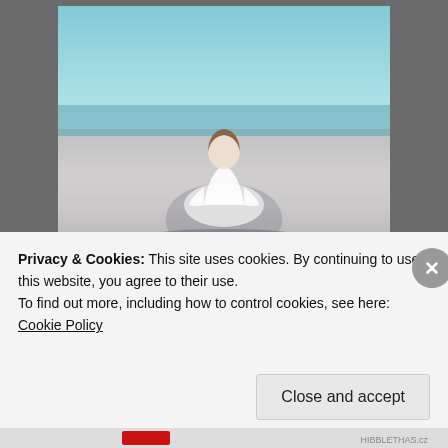[Figure (photo): Person in white shirt sitting cross-legged on a concrete surface near water, viewed from behind, with shadow extending to the right. Photo framed on a dark gray background.]
Photo by Two Dreamers on Pexels.com
Seeing the outline of curves beneath your white shirt
[partially visible text, faded]
Privacy & Cookies: This site uses cookies. By continuing to use this website, you agree to their use.
To find out more, including how to control cookies, see here:
Cookie Policy
Close and accept